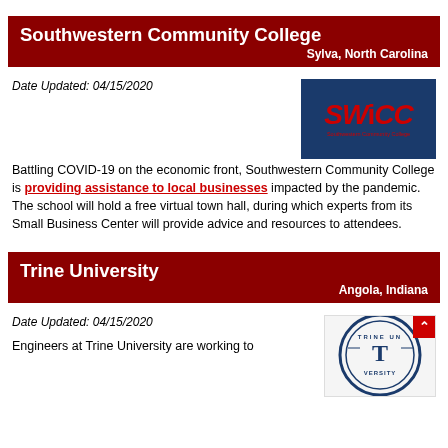Southwestern Community College – Sylva, North Carolina
Date Updated: 04/15/2020
[Figure (logo): SWCC Southwestern Community College logo — white SWCC text on dark blue background with red styling]
Battling COVID-19 on the economic front, Southwestern Community College is providing assistance to local businesses impacted by the pandemic. The school will hold a free virtual town hall, during which experts from its Small Business Center will provide advice and resources to attendees.
Trine University – Angola, Indiana
Date Updated: 04/15/2020
[Figure (logo): Trine University circular seal/logo in blue and white]
Engineers at Trine University are working to